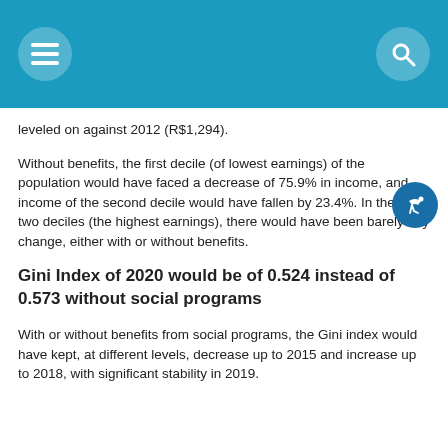leveled on against 2012 (R$1,294).
Without benefits, the first decile (of lowest earnings) of the population would have faced a decrease of 75.9% in income, and income of the second decile would have fallen by 23.4%. In the last two deciles (the highest earnings), there would have been barely any change, either with or without benefits.
Gini Index of 2020 would be of 0.524 instead of 0.573 without social programs
With or without benefits from social programs, the Gini index would have kept, at different levels, decrease up to 2015 and increase up to 2018, with significant stability in 2019.